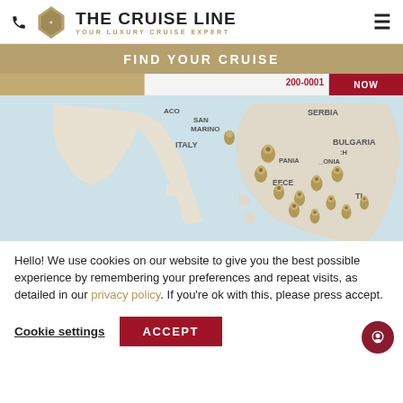THE CRUISE LINE — YOUR LUXURY CRUISE EXPERT
FIND YOUR CRUISE
[Figure (map): Interactive map of Mediterranean/Balkans region showing cruise destinations with gold map pins on countries including Italy, San Marino, Serbia, Bulgaria, Greece and surrounding areas]
Hello! We use cookies on our website to give you the best possible experience by remembering your preferences and repeat visits, as detailed in our privacy policy. If you're ok with this, please press accept.
Cookie settings
ACCEPT